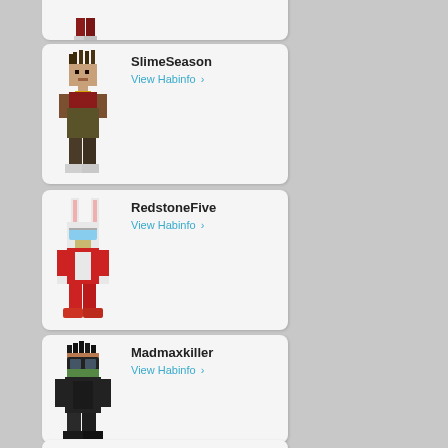[Figure (illustration): Partially visible Habbo-style pixel character card at top of page]
SlimeSeason
View Habinfo ›
[Figure (illustration): Pixel art avatar of SlimeSeason character - brown outfit with dreadlocks]
RedstoneFive
View Habinfo ›
[Figure (illustration): Pixel art avatar of RedstoneFive character - bunny ears red outfit]
Madmaxkiller
View Habinfo ›
[Figure (illustration): Pixel art avatar of Madmaxkiller character - dark hoodie with goggles]
[Figure (illustration): Partially visible card at bottom of page]